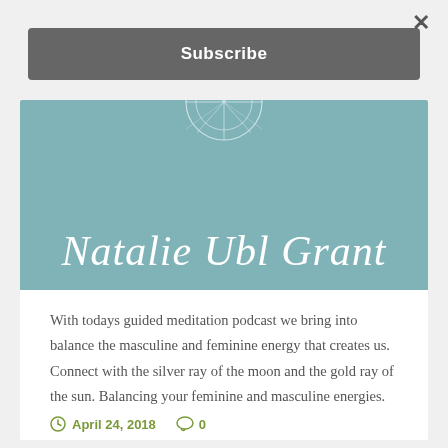×
Subscribe
[Figure (illustration): Decorative mandala/wheel illustration in white on teal background at the top of the content card]
Natalie Ubl Grant
With todays guided meditation podcast we bring into balance the masculine and feminine energy that creates us. Connect with the silver ray of the moon and the gold ray of the sun. Balancing your feminine and masculine energies.
April 24, 2018   0